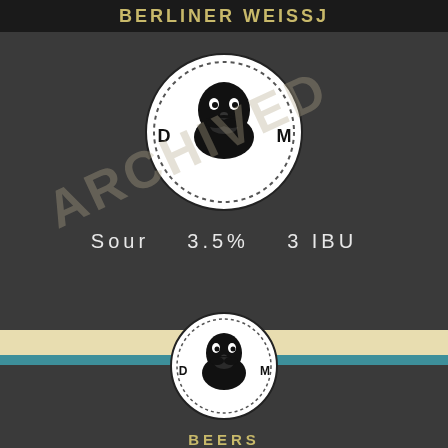BERLINER WEISSJ
[Figure (logo): Circular brewery logo with bearded man face, letters D and M, dotted border. Overlaid with large diagonal 'ARCHIVED' watermark text.]
Sour   3.5%   3 IBU
[Figure (logo): Smaller circular brewery logo with bearded man face, letters D and M, dotted border.]
BEERS